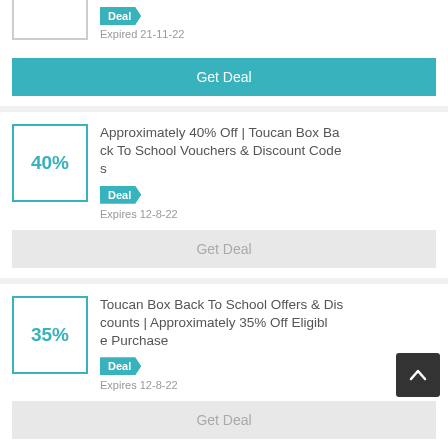[Figure (other): Partial top card with a box (top cut off) and a teal Deal badge with 'Expired 21-11-22' text, and a teal Get Deal button]
Approximately 40% Off | Toucan Box Back To School Vouchers & Discount Codes
Deal
Expires 12-8-22
Get Deal
Toucan Box Back To School Offers & Discounts | Approximately 35% Off Eligible Purchase
Deal
Expires 12-8-22
Get Deal